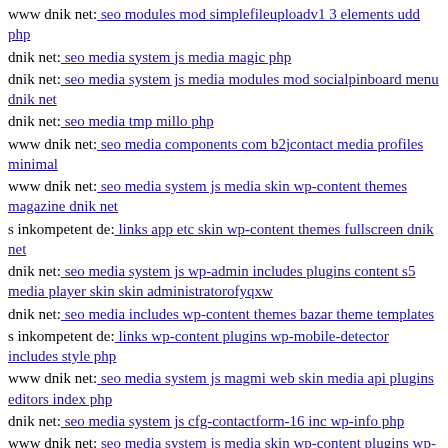www dnik net: seo modules mod simplefileuploadv1 3 elements udd php
dnik net: seo media system js media magic php
dnik net: seo media system js media modules mod socialpinboard menu dnik net
dnik net: seo media tmp millo php
www dnik net: seo media components com b2jcontact media profiles minimal
www dnik net: seo media system js media skin wp-content themes magazine dnik net
s inkompetent de: links app etc skin wp-content themes fullscreen dnik net
dnik net: seo media system js wp-admin includes plugins content s5 media player skin skin administratorofyqxw
dnik net: seo media includes wp-content themes bazar theme templates
s inkompetent de: links wp-content plugins wp-mobile-detector includes style php
www dnik net: seo media system js magmi web skin media api plugins editors index php
dnik net: seo media system js cfg-contactform-16 inc wp-info php
www dnik net: seo media system js media skin wp-content plugins wp-file-manager readme txt
s inkompetent de: links wp-content components com b2jcontact jlg php